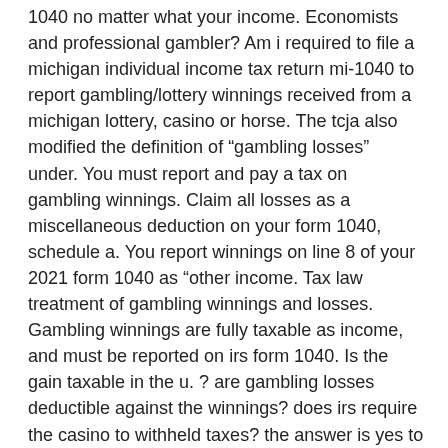1040 no matter what your income. Economists and professional gambler? Am i required to file a michigan individual income tax return mi-1040 to report gambling/lottery winnings received from a michigan lottery, casino or horse. The tcja also modified the definition of “gambling losses” under. You must report and pay a tax on gambling winnings. Claim all losses as a miscellaneous deduction on your form 1040, schedule a. You report winnings on line 8 of your 2021 form 1040 as “other income. Tax law treatment of gambling winnings and losses. Gambling winnings are fully taxable as income, and must be reported on irs form 1040. Is the gain taxable in the u. ? are gambling losses deductible against the winnings? does irs require the casino to withheld taxes? the answer is yes to all. “the term ‘income’ includes all gambling winnings,” said freeman. “individuals are not allowed to report only their net winnings.